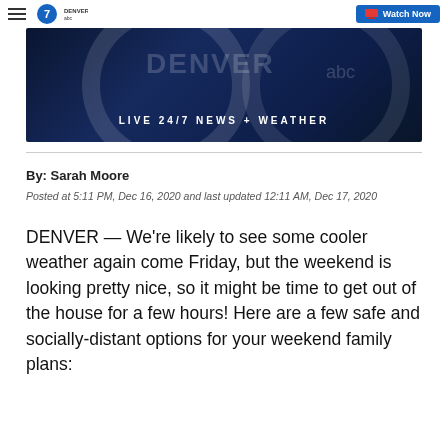Denver 7 ABC — Watch Now
[Figure (screenshot): Denver 7 ABC banner image showing 'LIVE 24/7 NEWS + WEATHER' on a dark blue background with the Denver 7 ABC logo watermark]
By: Sarah Moore
Posted at 5:11 PM, Dec 16, 2020 and last updated 12:11 AM, Dec 17, 2020
DENVER — We're likely to see some cooler weather again come Friday, but the weekend is looking pretty nice, so it might be time to get out of the house for a few hours! Here are a few safe and socially-distant options for your weekend family plans: